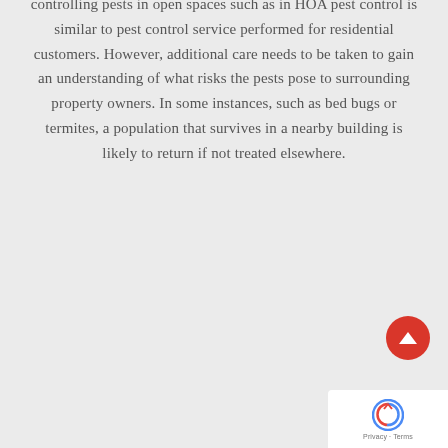controlling pests in open spaces such as in HOA pest control is similar to pest control service performed for residential customers. However, additional care needs to be taken to gain an understanding of what risks the pests pose to surrounding property owners. In some instances, such as bed bugs or termites, a population that survives in a nearby building is likely to return if not treated elsewhere.
[Figure (other): Red circular scroll-to-top button with triangle/arrow icon]
[Figure (other): Google reCAPTCHA widget box with logo and Privacy/Terms links]